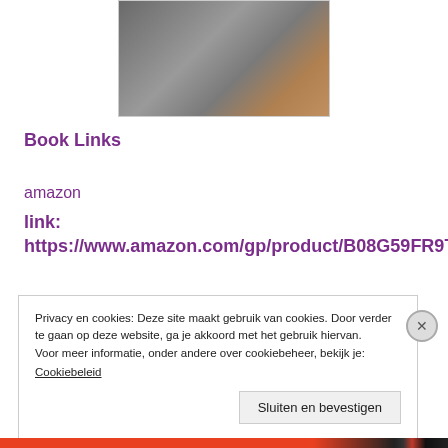[Figure (photo): Partial photo of a person in a grey suit jacket, cropped at top of image]
Book Links
amazon
link:  https://www.amazon.com/gp/product/B08G59FR9T
Privacy en cookies: Deze site maakt gebruik van cookies. Door verder te gaan op deze website, ga je akkoord met het gebruik hiervan.
Voor meer informatie, onder andere over cookiebeheer, bekijk je:
Cookiebeleid
Sluiten en bevestigen